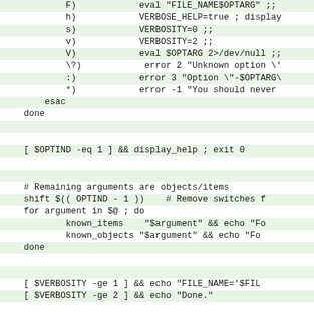Shell script code snippet showing case statement options and post-processing logic including OPTIND check, argument loop, verbosity echo, and exit 0.